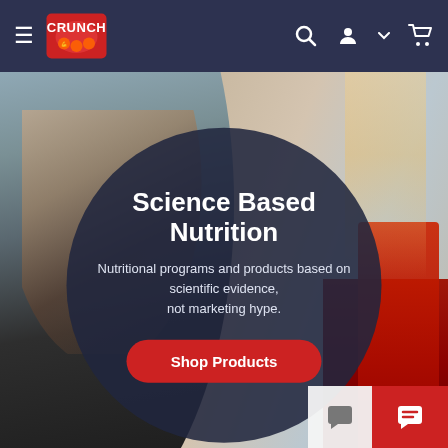Crunch nutrition website navigation bar with hamburger menu, logo, search icon, account icon, cart icon
[Figure (photo): Hero image of a woman in athletic wear in a gym setting, with supplement bottles visible on the right side]
Science Based Nutrition
Nutritional programs and products based on scientific evidence, not marketing hype.
Shop Products